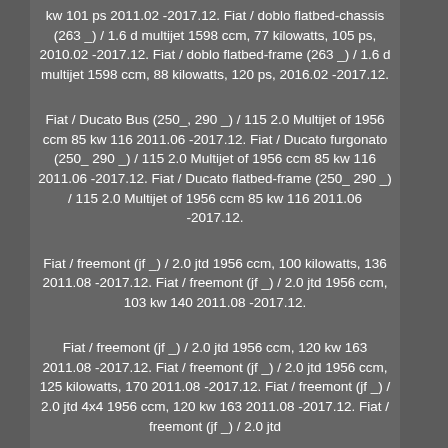kw 101 ps 2011.02 -2017.12. Fiat / doblo flatbed-chassis (263 _) / 1.6 d multijet 1598 ccm, 77 kilowatts, 105 ps, 2010.02 -2017.12. Fiat / doblo flatbed-frame (263 _) / 1.6 d multijet 1598 ccm, 88 kilowatts, 120 ps, 2016.02 -2017.12.
Fiat / Ducato Bus (250_, 290 _) / 115 2.0 Multijet of 1956 ccm 85 kw 116 2011.06 -2017.12. Fiat / Ducato furgonato (250_ 290 _) / 115 2.0 Multijet of 1956 ccm 85 kw 116 2011.06 -2017.12. Fiat / Ducato flatbed-frame (250_ 290 _) / 115 2.0 Multijet of 1956 ccm 85 kw 116 2011.06 -2017.12.
Fiat / freemont (jf _) / 2.0 jtd 1956 ccm, 100 kilowatts, 136 2011.08 -2017.12. Fiat / freemont (jf _) / 2.0 jtd 1956 ccm, 103 kw 140 2011.08 -2017.12.
Fiat / freemont (jf _) / 2.0 jtd 1956 ccm, 120 kw 163 2011.08 -2017.12. Fiat / freemont (jf _) / 2.0 jtd 1956 ccm, 125 kilowatts, 170 2011.08 -2017.12. Fiat / freemont (jf _) / 2.0 jtd 4x4 1956 ccm, 120 kw 163 2011.08 -2017.12. Fiat / freemont (jf _) / 2.0 jtd